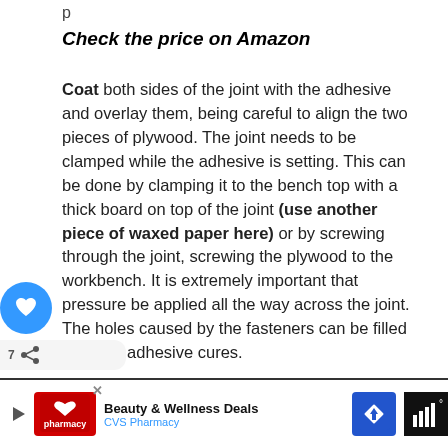Check the price on Amazon
Coat both sides of the joint with the adhesive and overlay them, being careful to align the two pieces of plywood. The joint needs to be clamped while the adhesive is setting. This can be done by clamping it to the bench top with a thick board on top of the joint (use another piece of waxed paper here) or by screwing through the joint, screwing the plywood to the workbench. It is extremely important that pressure be applied all the way across the joint. The holes caused by the fasteners can be filled after the adhesive cures.
[Figure (infographic): WHAT'S NEXT arrow label with bench dogs image thumbnail]
[Figure (infographic): CVS Pharmacy advertisement banner with Beauty and Wellness Deals]